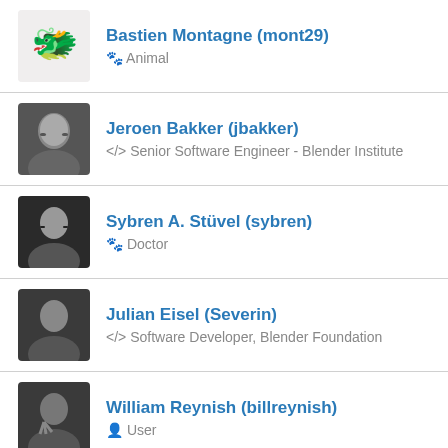Bastien Montagne (mont29) — Animal
Jeroen Bakker (jbakker) — </> Senior Software Engineer - Blender Institute
Sybren A. Stüvel (sybren) — Doctor
Julian Eisel (Severin) — </> Software Developer, Blender Foundation
William Reynish (billreynish) — User
Joshua Leung (aligorith) — Developer
Clément Foucault (fclem) — Realtime Rendering Engineer, Blender Studio
Pablo Vazquez (pablovazquez)